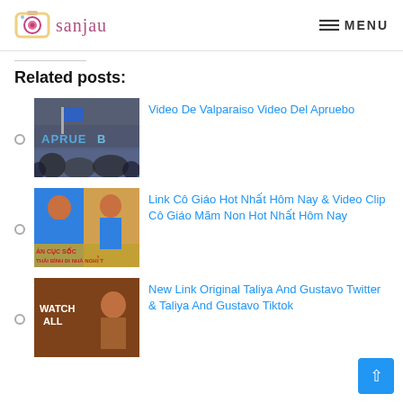sanjau — MENU
Related posts:
Video De Valparaiso Video Del Apruebo
Link Cô Giáo Hot Nhất Hôm Nay & Video Clip Cô Giáo Mãm Non Hot Nhất Hôm Nay
New Link Original Taliya And Gustavo Twitter & Taliya And Gustavo Tiktok